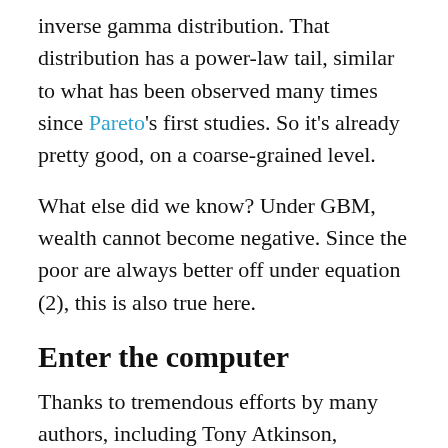inverse gamma distribution. That distribution has a power-law tail, similar to what has been observed many times since Pareto's first studies. So it's already pretty good, on a coarse-grained level.
What else did we know? Under GBM, wealth cannot become negative. Since the poor are always better off under equation (2), this is also true here.
Enter the computer
Thanks to tremendous efforts by many authors, including Tony Atkinson, Thomas Piketty, Emmanuel Saez, Gabriel Zucman, Wojciech Kopczuk, Jonas Pricken, Alice Henriques, Jacob